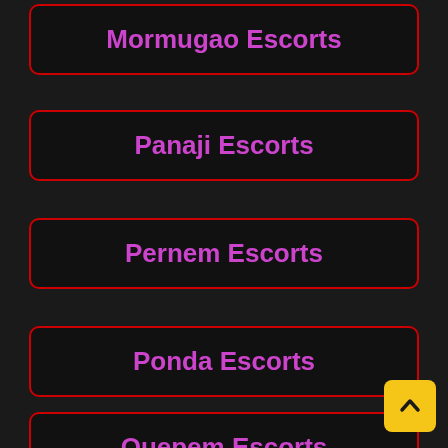Mormugao Escorts
Panaji Escorts
Pernem Escorts
Ponda Escorts
Quepem Escorts